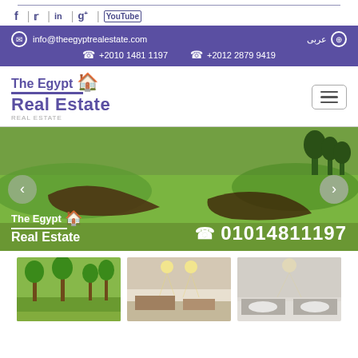Social media icons: f, Twitter, in, g+, YouTube
info@theegyptrealestate.com  عربى  +2010 1481 1197  +2012 2879 9419
[Figure (logo): The Egypt Real Estate logo with house icon]
[Figure (photo): Hero banner showing golf course landscape with The Egypt Real Estate logo and phone number 01014811197]
[Figure (photo): Three property thumbnail images at the bottom]